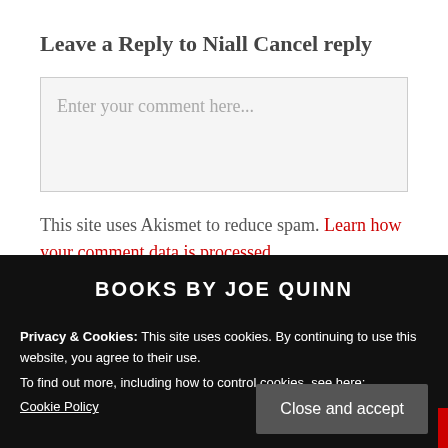Leave a Reply to Niall Cancel reply
[Figure (other): Comment text area input box with placeholder text 'Enter your comment here...']
This site uses Akismet to reduce spam. Learn how your comment data is processed.
BOOKS BY JOE QUINN
Privacy & Cookies: This site uses cookies. By continuing to use this website, you agree to their use. To find out more, including how to control cookies, see here: Cookie Policy
Close and accept